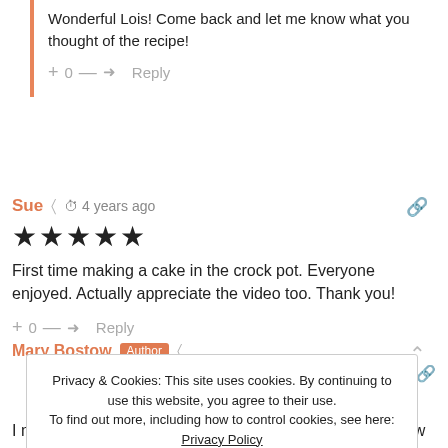Wonderful Lois! Come back and let me know what you thought of the recipe!
＋ 0 — ➜ Reply
Sue ◁ 🕐 4 years ago
★★★★★
First time making a cake in the crock pot. Everyone enjoyed. Actually appreciate the video too. Thank you!
＋ 0 — ➜ Reply
Mary Bostow Author ◁
💬 Reply to Sue 🕐 4 years ago
Privacy & Cookies: This site uses cookies. By continuing to use this website, you agree to their use. To find out more, including how to control cookies, see here: Privacy Policy
Close and accept
I must have a small crockpot…it's so old I don't even know